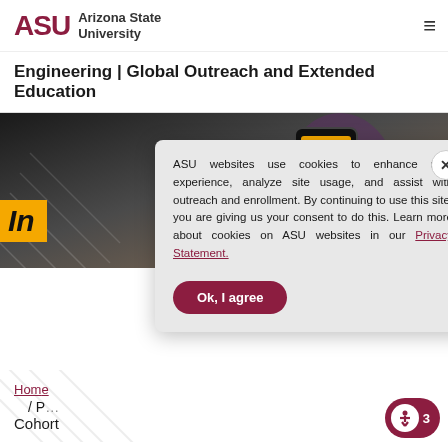ASU Arizona State University
Engineering | Global Outreach and Extended Education
[Figure (screenshot): Hero image showing a hand holding a smartphone with ASU branding, with a yellow banner showing 'In' text overlay]
ASU websites use cookies to enhance user experience, analyze site usage, and assist with outreach and enrollment. By continuing to use this site, you are giving us your consent to do this. Learn more about cookies on ASU websites in our Privacy Statement.
Ok, I agree
Home / P... Cohort